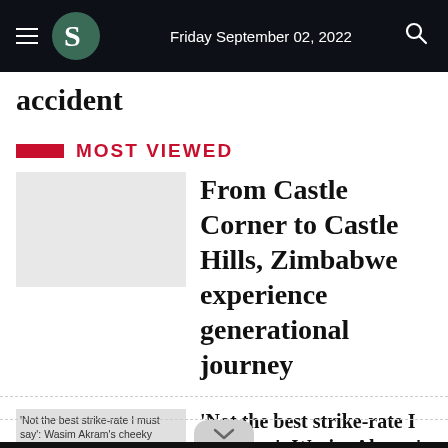Friday September 02, 2022
accident
MOST VIEWED
From Castle Corner to Castle Hills, Zimbabwe experience generational journey
[Figure (photo): Thumbnail image placeholder for Wasim Akram article]
'Not the best strike-rate I must say': Wasim Akram's cheeky answer to Athar's praise about Mushfiqur